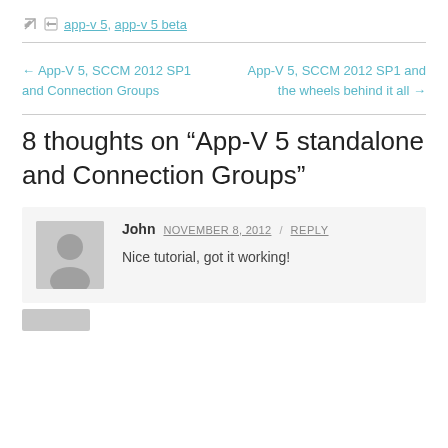app-v 5, app-v 5 beta
← App-V 5, SCCM 2012 SP1 and Connection Groups
App-V 5, SCCM 2012 SP1 and the wheels behind it all →
8 thoughts on "App-V 5 standalone and Connection Groups"
John  NOVEMBER 8, 2012 / REPLY
Nice tutorial, got it working!